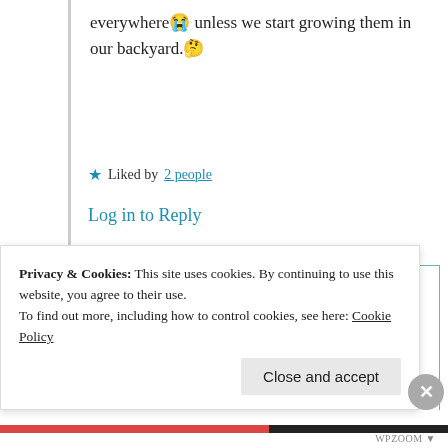everywhere 😭 unless we start growing them in our backyard. 🤔
★ Liked by 2 people
Log in to Reply
[Figure (photo): Circular avatar photo of Suma Reddy]
Suma Reddy
18th Jun 2021 at 8:21 pm
Privacy & Cookies: This site uses cookies. By continuing to use this website, you agree to their use.
To find out more, including how to control cookies, see here: Cookie Policy
Close and accept